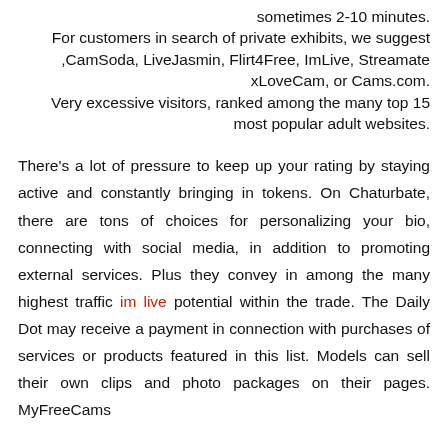.sometimes 2-10 minutes
For customers in search of private exhibits, we suggest CamSoda, LiveJasmin, Flirt4Free, ImLive, Streamate, xLoveCam, or Cams.com
Very excessive visitors, ranked among the many top 15 most popular adult websites.
There’s a lot of pressure to keep up your rating by staying active and constantly bringing in tokens. On Chaturbate, there are tons of choices for personalizing your bio, connecting with social media, in addition to promoting external services. Plus they convey in among the many highest traffic im live potential within the trade. The Daily Dot may receive a payment in connection with purchases of services or products featured in this list. Models can sell their own clips and photo packages on their pages. MyFreeCams